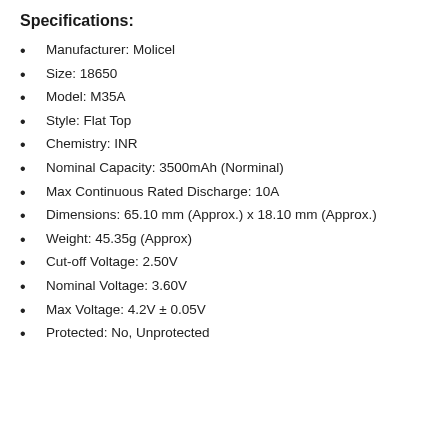Specifications:
Manufacturer: Molicel
Size: 18650
Model: M35A
Style: Flat Top
Chemistry: INR
Nominal Capacity: 3500mAh (Norminal)
Max Continuous Rated Discharge: 10A
Dimensions: 65.10 mm (Approx.) x 18.10 mm (Approx.)
Weight: 45.35g (Approx)
Cut-off Voltage: 2.50V
Nominal Voltage: 3.60V
Max Voltage: 4.2V ± 0.05V
Protected: No, Unprotected